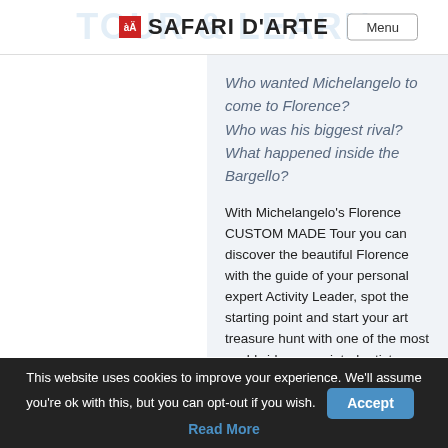SAFARI D'ARTE | Menu
Who wanted Michelangelo to come to Florence?
Who was his biggest rival?
What happened inside the Bargello?
With Michelangelo's Florence CUSTOM MADE Tour you can discover the beautiful Florence with the guide of your personal expert Activity Leader, spot the starting point and start your art treasure hunt with one of the most worldwide appreciated artists.
We will follow Michelangelo's trail in
This website uses cookies to improve your experience. We'll assume you're ok with this, but you can opt-out if you wish. Accept Read More